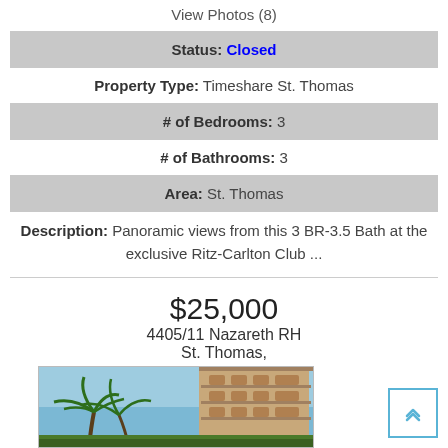View Photos (8)
Status: Closed
Property Type: Timeshare St. Thomas
# of Bedrooms: 3
# of Bathrooms: 3
Area: St. Thomas
Description: Panoramic views from this 3 BR-3.5 Bath at the exclusive Ritz-Carlton Club ...
$25,000
4405/11 Nazareth RH
St. Thomas,
[Figure (photo): Exterior photo of a multi-story resort building with palm trees and blue sky, likely Ritz-Carlton Club St. Thomas]